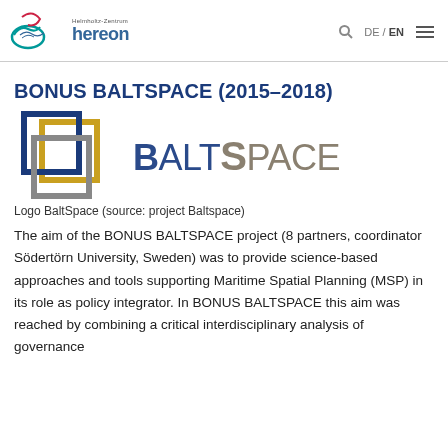Helmholtz-Zentrum hereon — DE / EN
BONUS BALTSPACE (2015–2018)
[Figure (logo): BaltSpace project logo: overlapping colored squares (blue, gold, grey) with text 'BaltSpace' in blue and grey]
Logo BaltSpace (source: project Baltspace)
The aim of the BONUS BALTSPACE project (8 partners, coordinator Södertörn University, Sweden) was to provide science-based approaches and tools supporting Maritime Spatial Planning (MSP) in its role as policy integrator. In BONUS BALTSPACE this aim was reached by combining a critical interdisciplinary analysis of governance…